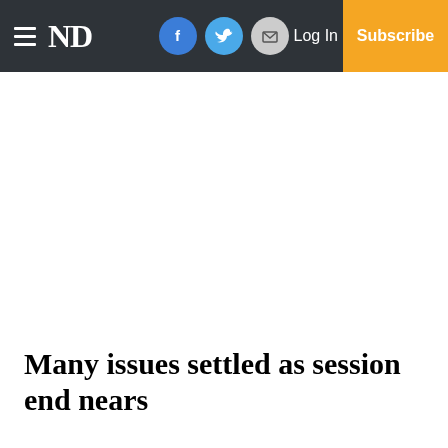ND | Log In | Subscribe
Many issues settled as session end nears